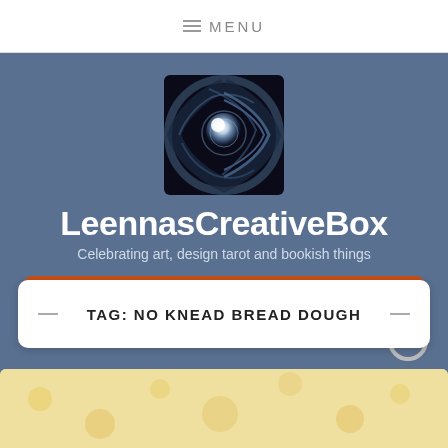MENU
[Figure (logo): Circular vortex/lens flare logo for LeennasCreativeBox on dark background]
LeennasCreativeBox
Celebrating art, design tarot and bookish things
TAG: NO KNEAD BREAD DOUGH
[Figure (photo): Partial view of a card/post with yellow decorative background at the bottom of the page]